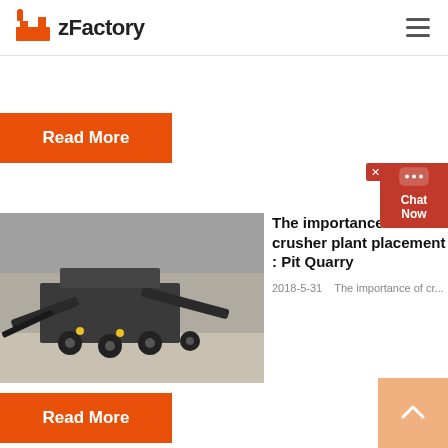zFactory
Read More
[Figure (photo): A crusher plant machine in an open-pit quarry setting, industrial equipment with conveyor belts visible.]
The importance of crusher plant placement : Pit Quarry
2018-5-31   The importance of cr...
Read More